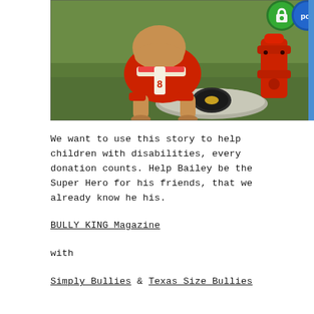[Figure (photo): A bulldog wearing a red superhero costume standing next to a red fire hydrant on grass, with a green padlock security badge and a blue PCI badge visible in the top right corner of the image.]
We want to use this story to help children with disabilities, every donation counts. Help Bailey be the Super Hero for his friends, that we already know he his.
BULLY KING Magazine
with
Simply Bullies & Texas Size Bullies